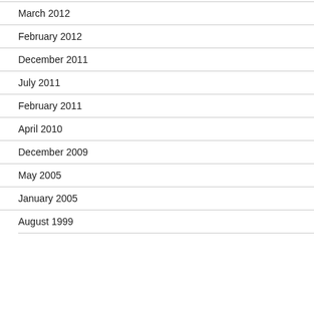March 2012
February 2012
December 2011
July 2011
February 2011
April 2010
December 2009
May 2005
January 2005
August 1999